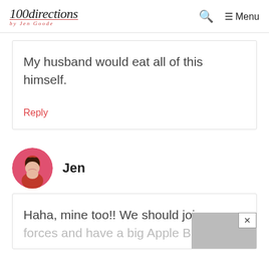100directions Menu
My husband would eat all of this himself.
Reply
[Figure (photo): Circular avatar photo of Jen, a woman with dark hair, smiling]
Jen
Haha, mine too!! We should join forces and have a big Apple Butter